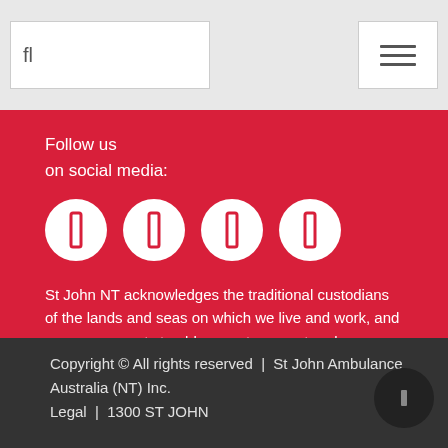fl [search box] [menu button]
Follow us
on social media:
[Figure (illustration): Four white circular social media icon buttons on red background]
St John NT acknowledges the traditional custodians of the lands and seas on which we live and work, and pay our respects to elders past, present and emerging.
[Figure (illustration): Aboriginal flag and Torres Strait Islander flag]
Copyright © All rights reserved  |  St John Ambulance Australia (NT) Inc.
Legal  |  1300 ST JOHN